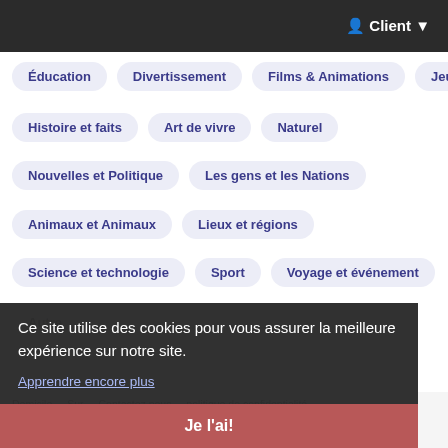Client
Éducation
Divertissement
Films & Animations
Jeux
Histoire et faits
Art de vivre
Naturel
Nouvelles et Politique
Les gens et les Nations
Animaux et Animaux
Lieux et régions
Science et technologie
Sport
Voyage et événement
Autre
Ce site utilise des cookies pour vous assurer la meilleure expérience sur notre site.
Apprendre encore plus
Domicile  Sur  Contactez nous  politique de confidentialité  Conditions d'utilisation  Blog  Développeur
Je l'ai!